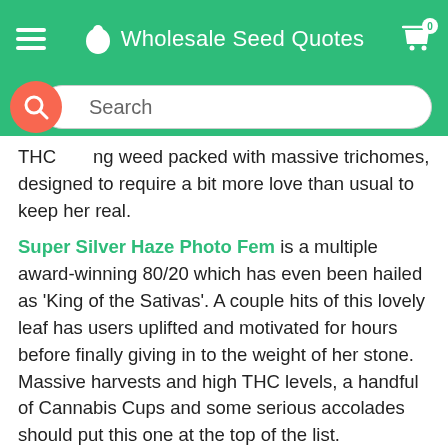Wholesale Seed Quotes
[Figure (screenshot): Search bar with orange search icon circle on left and text 'Search' in rounded input field]
THC... ng weed packed with massive trichomes, designed to require a bit more love than usual to keep her real.
Super Silver Haze Photo Fem is a multiple award-winning 80/20 which has even been hailed as 'King of the Sativas'. A couple hits of this lovely leaf has users uplifted and motivated for hours before finally giving in to the weight of her stone. Massive harvests and high THC levels, a handful of Cannabis Cups and some serious accolades should put this one at the top of the list.
Purple Haze Photo Fem will put a spell on anyone. Brain-swirling psychedelia strikes curiosity and wonder, thoughts and images seem sharper and more complex, making this sativa heavy hybrid one of the best out there for rockin' motivation. You'll know exactly why things don't seem the same after smoking a joint of Purple...